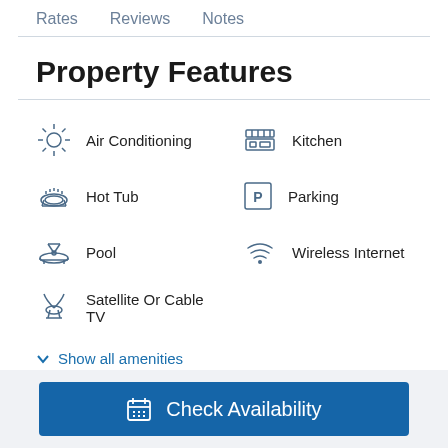Rates   Reviews   Notes
Property Features
Air Conditioning
Kitchen
Hot Tub
Parking
Pool
Wireless Internet
Satellite Or Cable TV
Show all amenities
Check Availability